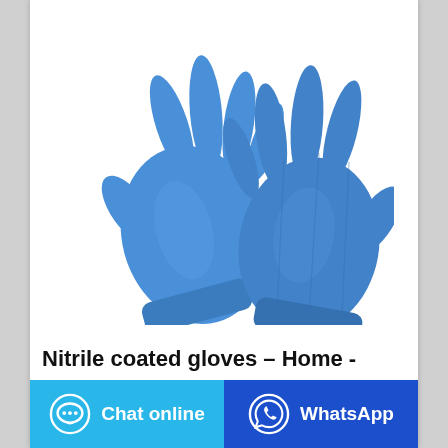[Figure (photo): Two blue nitrile disposable gloves displayed on a white background, showing the palm-side and back of hand views.]
Nitrile coated gloves – Home -
Chat online
WhatsApp